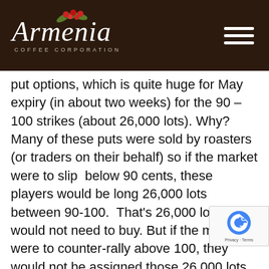Armenia Coffee Corporation
put options, which is quite huge for May expiry (in about two weeks) for the 90 – 100 strikes (about 26,000 lots). Why? Many of these puts were sold by roasters (or traders on their behalf) so if the market were to slip  below 90 cents, these players would be long 26,000 lots between 90-100.  That's 26,000 lots they would not need to buy. But if the market were to counter-rally above 100, they would not be assigned those 26,000 lots and would therefore have to step in and buy those futures to price out their coffee. This story will play itself out over the next two weeks but as you can appreciate, the lack of futures to buy in a down market below 90, or the